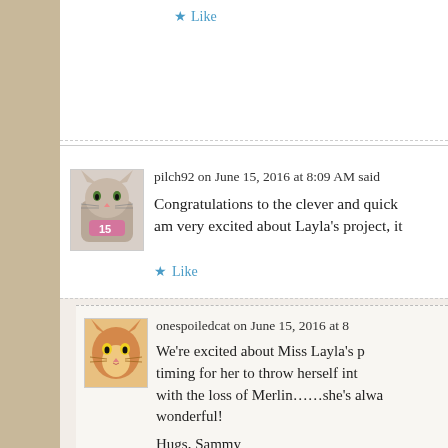Like
pilch92 on June 15, 2016 at 8:09 AM said:
Congratulations to the clever and quick am very excited about Layla’s project, it
Like
onespoiledcat on June 15, 2016 at 8
We’re excited about Miss Layla’s p timing for her to throw herself int with the loss of Merlin……she’s alwa wonderful!
Hugs, Sammy
Like